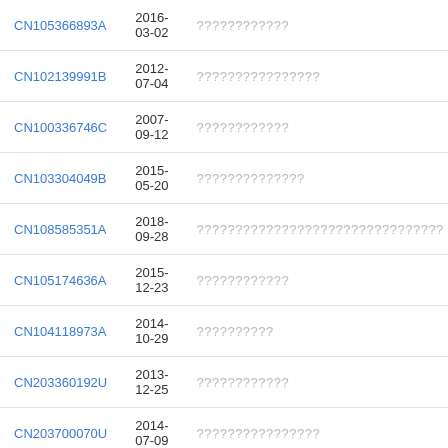| Patent Number | Date | Title |
| --- | --- | --- |
| CN105366893A | 2016-03-02 | ???????????? |
| CN102139991B | 2012-07-04 | ???????????????? |
| CN100336746C | 2007-09-12 | ???????????? |
| CN103304049B | 2015-05-20 | ?????????????? |
| CN108585351A | 2018-09-28 | ???????????????????????????????? |
| CN105174636A | 2015-12-23 | ???????????? |
| CN104118973A | 2014-10-29 | ?????????? |
| CN203360192U | 2013-12-25 | ???????????? |
| CN203700070U | 2014-07-09 | ???????????????? |
| CN104628215A | 2015-05-20 | ???????????????? |
| CN103896437B | 2016-04-20 | ?????????????? |
| CN103408193B | 2014-07-09 | ???????????????????????????????? |
| CN101492214B | 2011-02-02 | ?????????? |